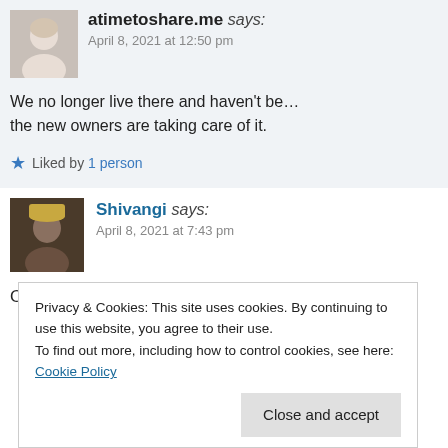atimetoshare.me says: April 8, 2021 at 12:50 pm
We no longer live there and haven't be… the new owners are taking care of it.
Liked by 1 person
Shivangi says: April 8, 2021 at 7:43 pm
Oh… I am sure they are doing tha…
Privacy & Cookies: This site uses cookies. By continuing to use this website, you agree to their use. To find out more, including how to control cookies, see here: Cookie Policy
Close and accept